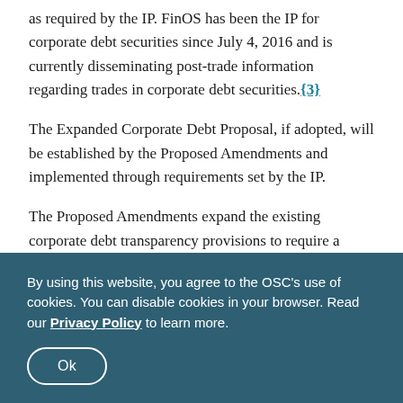as required by the IP. FinOS has been the IP for corporate debt securities since July 4, 2016 and is currently disseminating post-trade information regarding trades in corporate debt securities.{3}
The Expanded Corporate Debt Proposal, if adopted, will be established by the Proposed Amendments and implemented through requirements set by the IP.
The Proposed Amendments expand the existing corporate debt transparency provisions to require a person or company that executes trades in corporate debt securities to provide information regarding trades in these securities to an IP. As a result, mandatory post-
By using this website, you agree to the OSC's use of cookies. You can disable cookies in your browser. Read our Privacy Policy to learn more.
Ok